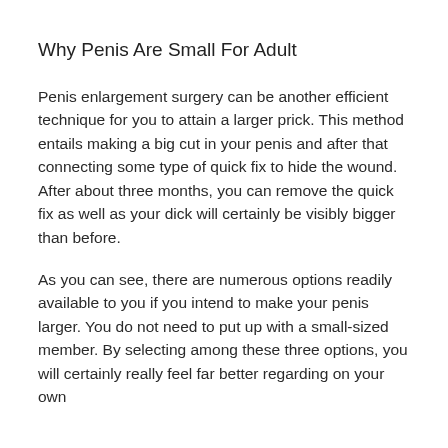Why Penis Are Small For Adult
Penis enlargement surgery can be another efficient technique for you to attain a larger prick. This method entails making a big cut in your penis and after that connecting some type of quick fix to hide the wound. After about three months, you can remove the quick fix as well as your dick will certainly be visibly bigger than before.
As you can see, there are numerous options readily available to you if you intend to make your penis larger. You do not need to put up with a small-sized member. By selecting among these three options, you will certainly really feel far better regarding on your own